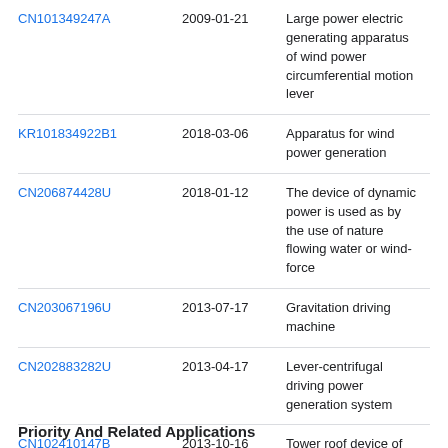| Patent | Date | Title |
| --- | --- | --- |
| CN101349247A | 2009-01-21 | Large power electric generating apparatus of wind power circumferential motion lever |
| KR101834922B1 | 2018-03-06 | Apparatus for wind power generation |
| CN206874428U | 2018-01-12 | The device of dynamic power is used as by the use of nature flowing water or wind-force |
| CN203067196U | 2013-07-17 | Gravitation driving machine |
| CN202883282U | 2013-04-17 | Lever-centrifugal driving power generation system |
| CN102410147B | 2013-10-16 | Tower roof device of vertical axial fan and vertical axial wind power generator |
Priority And Related Applications